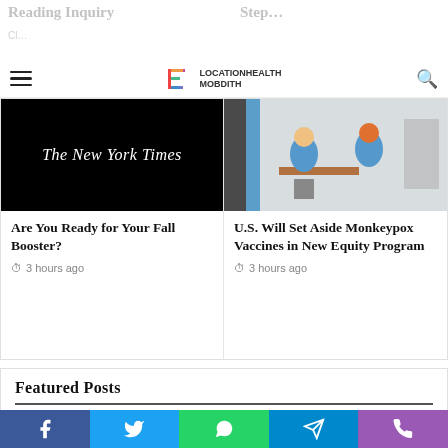Locationhealth Mobdith — navigation bar with hamburger menu and search
[Figure (screenshot): New York Times logo on black background]
Are You Ready for Your Fall Booster?
3 hours ago
[Figure (photo): Photo of students/people in a classroom or testing setting]
U.S. Will Set Aside Monkeypox Vaccines in New Equity Program
3 hours ago
Featured Posts
[Figure (photo): Featured post images at the bottom of the section]
Social sharing bar: Facebook, Twitter, WhatsApp, Telegram, Phone